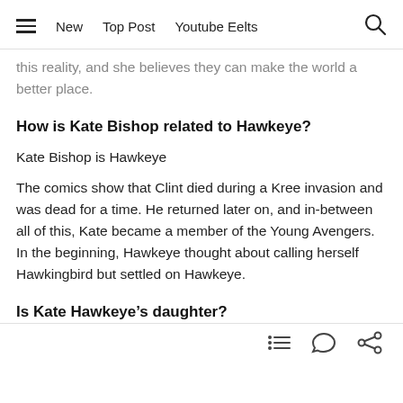New  Top Post  Youtube Eelts
this reality, and she believes they can make the world a better place.
How is Kate Bishop related to Hawkeye?
Kate Bishop is Hawkeye
The comics show that Clint died during a Kree invasion and was dead for a time. He returned later on, and in-between all of this, Kate became a member of the Young Avengers. In the beginning, Hawkeye thought about calling herself Hawkingbird but settled on Hawkeye.
Is Kate Hawkeye’s daughter?